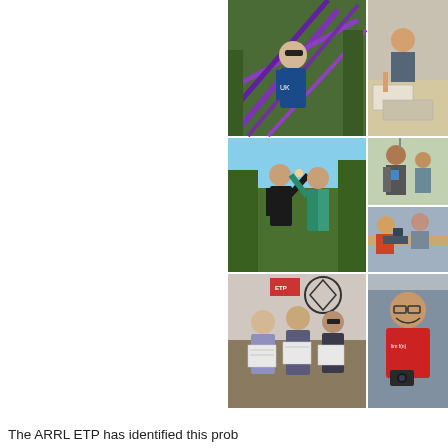[Figure (photo): Collage of six photos showing people at what appears to be an ARRL ETP (Education and Technology Program) event. Top row: person holding purple antenna equipment outdoors; person at a table with paperwork. Middle row: two people giving high fives outdoors; person standing with equipment; group working at tables. Bottom row: three women holding papers/certificates indoors with ARRL logo visible; smiling man in red t-shirt.]
The ARRL ETP has identified this prob